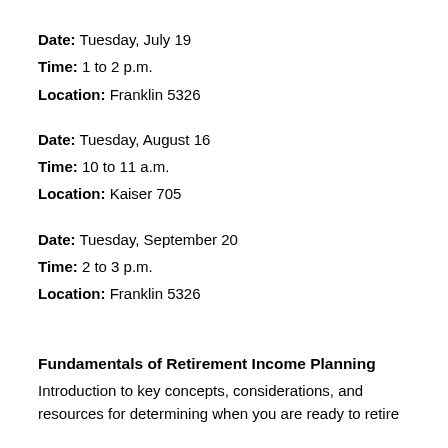Date: Tuesday, July 19
Time: 1 to 2 p.m.
Location: Franklin 5326
Date: Tuesday, August 16
Time: 10 to 11 a.m.
Location: Kaiser 705
Date: Tuesday, September 20
Time: 2 to 3 p.m.
Location: Franklin 5326
Fundamentals of Retirement Income Planning
Introduction to key concepts, considerations, and resources for determining when you are ready to retire